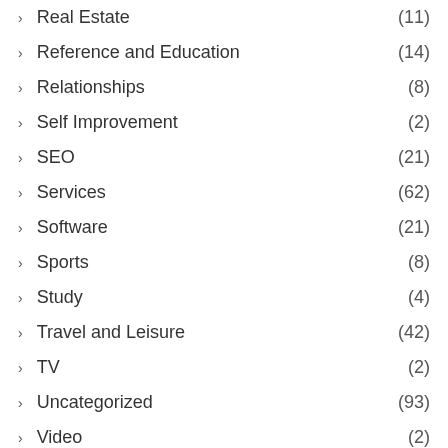Real Estate (11)
Reference and Education (14)
Relationships (8)
Self Improvement (2)
SEO (21)
Services (62)
Software (21)
Sports (8)
Study (4)
Travel and Leisure (42)
TV (2)
Uncategorized (93)
Video (2)
Web Development (8)
Women's Interests (5)